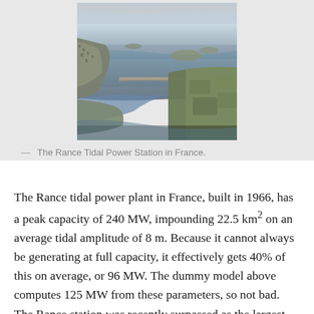[Figure (photo): Aerial photograph of the Rance Tidal Power Station in France, showing a coastal estuary with a tidal barrage dam crossing the water, surrounded by land with urban development on the left and green fields on the right.]
— The Rance Tidal Power Station in France.
The Rance tidal power plant in France, built in 1966, has a peak capacity of 240 MW, impounding 22.5 km² on an average tidal amplitude of 8 m. Because it cannot always be generating at full capacity, it effectively gets 40% of this on average, or 96 MW. The dummy model above computes 125 MW from these parameters, so not bad. The Rance station was recently surpassed as the largest tidal power plant in the world by the Sihwa facility in South Korea, edging our Rance with 254 MW of peak capacity.